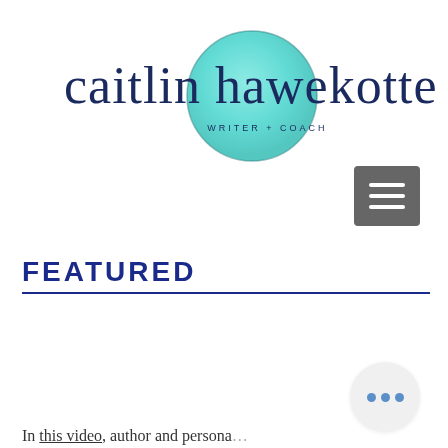[Figure (logo): Caitlin Hawekotte logo with teal watercolor circle, cursive brand name, and 'WRITER + COACH' subtitle]
FEATURED
In this video, author and persona... [Heidi Rich...]